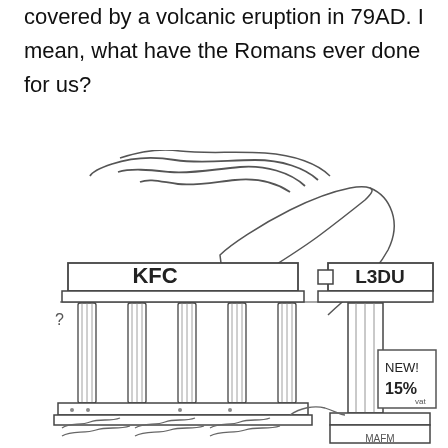covered by a volcanic eruption in 79AD. I mean, what have the Romans ever done for us?
[Figure (illustration): Hand-drawn cartoon illustration showing a volcanic mountain erupting in the background with smoke clouds. In the foreground on the left is a classical Greek/Roman temple building with columns labeled 'KFC' on its entablature. On the right is another classical building labeled 'L3DU' with a sign reading 'NEW! 15%'. There is a question mark near the left building and wavy lines at the bottom suggesting ground/water. The artist signature 'MAFM' appears in the bottom right corner.]